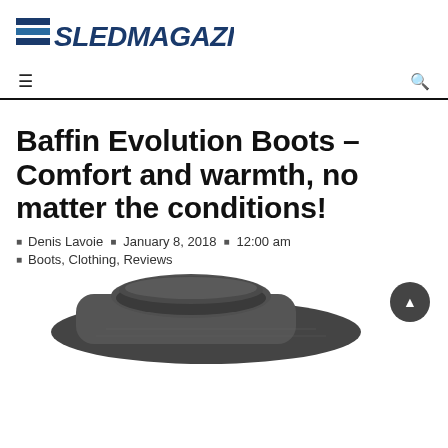[Figure (logo): SledMagazine.com logo with blue italic bold text and horizontal stripe graphic on the left]
Navigation bar with menu icon and search icon
Baffin Evolution Boots – Comfort and warmth, no matter the conditions!
Denis Lavoie   January 8, 2018   12:00 am
Boots, Clothing, Reviews
[Figure (photo): Partial view of a dark grey/black Baffin Evolution boot from the top, showing padding collar and upper portion of the boot]